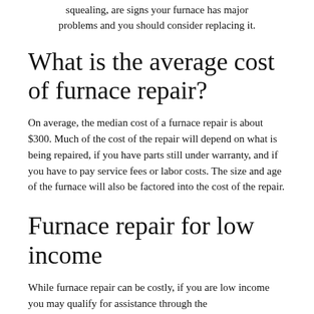squealing, are signs your furnace has major problems and you should consider replacing it.
What is the average cost of furnace repair?
On average, the median cost of a furnace repair is about $300. Much of the cost of the repair will depend on what is being repaired, if you have parts still under warranty, and if you have to pay service fees or labor costs. The size and age of the furnace will also be factored into the cost of the repair.
Furnace repair for low income
While furnace repair can be costly, if you are low income you may qualify for assistance through the